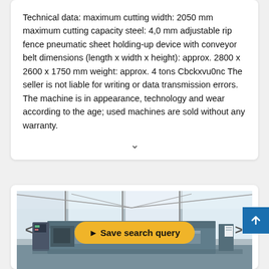Technical data: maximum cutting width: 2050 mm maximum cutting capacity steel: 4,0 mm adjustable rip fence pneumatic sheet holding-up device with conveyor belt dimensions (length x width x height): approx. 2800 x 2600 x 1750 mm weight: approx. 4 tons Cbckxvu0nc The seller is not liable for writing or data transmission errors. The machine is in appearance, technology and wear according to the age; used machines are sold without any warranty.
[Figure (photo): Industrial warehouse interior showing a large metal sheet cutting/shearing machine. The facility has large windows letting in natural light. A yellow button overlay reading 'Save search query' is visible in the lower-center of the image. Navigation arrows (< >) are on left and right sides. A blue scroll-up button is in the upper right.]